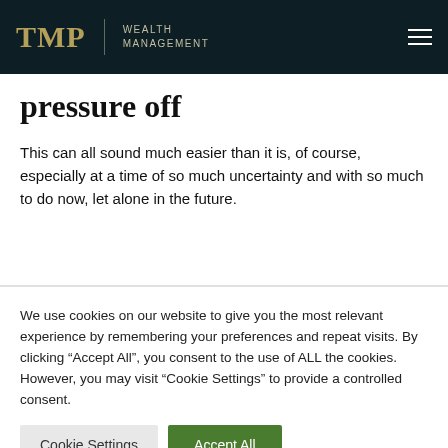TMP | WEALTH MANAGEMENT
pressure off
This can all sound much easier than it is, of course, especially at a time of so much uncertainty and with so much to do now, let alone in the future.
We use cookies on our website to give you the most relevant experience by remembering your preferences and repeat visits. By clicking “Accept All”, you consent to the use of ALL the cookies. However, you may visit “Cookie Settings” to provide a controlled consent.